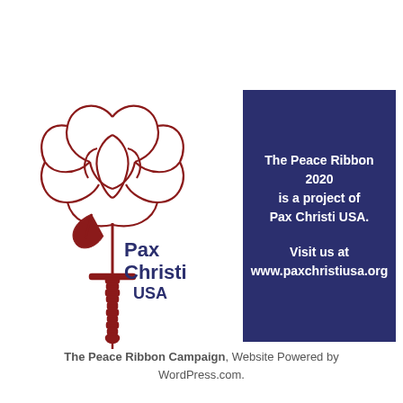[Figure (logo): Pax Christi USA logo: a dark red/maroon outlined rose atop a stylized sword/cross, with text 'Pax Christi USA' in dark navy blue]
The Peace Ribbon 2020 is a project of Pax Christi USA.

Visit us at www.paxchristiusa.org
The Peace Ribbon Campaign, Website Powered by WordPress.com.